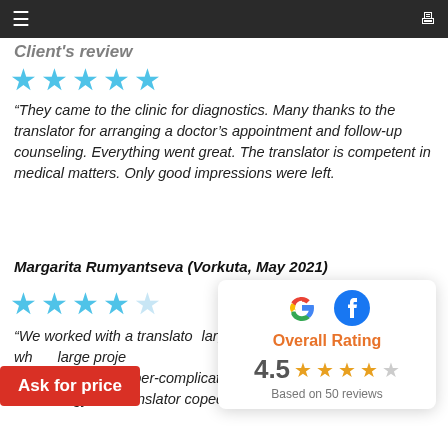☰  [monitor icon]
Client's review
[Figure (other): Five blue stars rating]
"They came to the clinic for diagnostics. Many thanks to the translator for arranging a doctor's appointment and follow-up counseling. Everything went great. The translator is competent in medical matters. Only good impressions were left.
Margarita Rumyantseva (Vorkuta, May 2021)
[Figure (other): Four blue stars rating (4 filled, 1 empty)]
"We worked with a translator on a large project... station. Despite super-complicated technical terminology, the translator coped well with the task...
[Figure (infographic): Overall Rating popup card showing Google and Facebook logos, Overall Rating label in orange, 4.5 stars rating with orange stars, Based on 50 reviews]
Ask for price